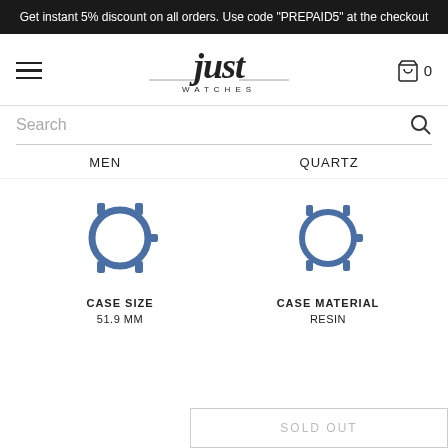Get instant 5% discount on all orders. Use code "PREPAID5" at the checkout
[Figure (logo): Just Watches logo with stylized italic script 'just' and 'WATCHES' subtitle]
Search
MEN   QUARTZ
[Figure (illustration): Watch case icon (blue outline) for CASE SIZE]
CASE SIZE
51.9 MM
[Figure (illustration): Watch case icon (blue outline) for CASE MATERIAL]
CASE MATERIAL
RESIN
SOLD OUT